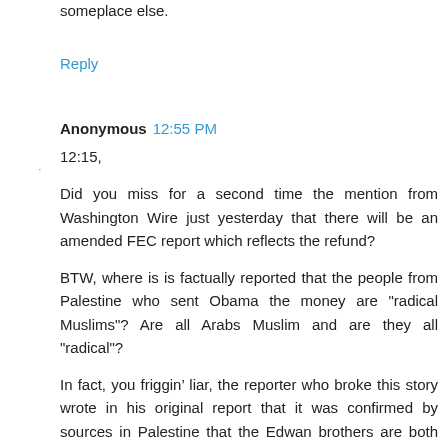someplace else.
Reply
Anonymous 12:55 PM
12:15,
Did you miss for a second time the mention from Washington Wire just yesterday that there will be an amended FEC report which reflects the refund?
BTW, where is is factually reported that the people from Palestine who sent Obama the money are "radical Muslims"? Are all Arabs Muslim and are they all "radical"?
In fact, you friggin’ liar, the reporter who broke this story wrote in his original report that it was confirmed by sources in Palestine that the Edwan brothers are both secular, non-Muslims.
Ass.